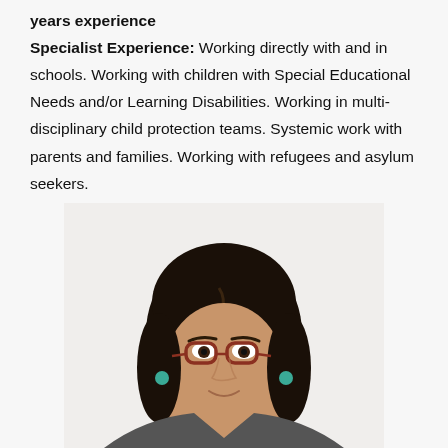years experience
Specialist Experience: Working directly with and in schools. Working with children with Special Educational Needs and/or Learning Disabilities. Working in multi-disciplinary child protection teams. Systemic work with parents and families. Working with refugees and asylum seekers.
[Figure (photo): Portrait photo of a woman with dark hair, red-framed glasses, and teal earrings, shown from shoulders up against a light background.]